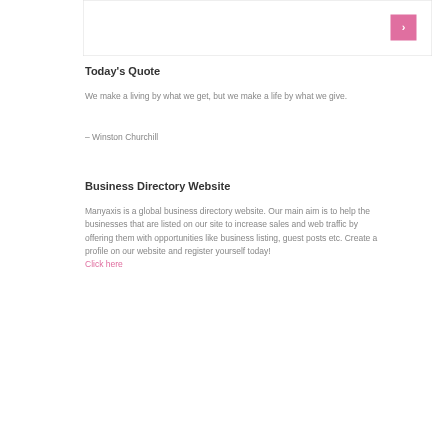[Figure (other): Navigation carousel box with a pink right-arrow button]
Today's Quote
We make a living by what we get, but we make a life by what we give.
– Winston Churchill
Business Directory Website
Manyaxis is a global business directory website. Our main aim is to help the businesses that are listed on our site to increase sales and web traffic by offering them with opportunities like business listing, guest posts etc. Create a profile on our website and register yourself today! Click here